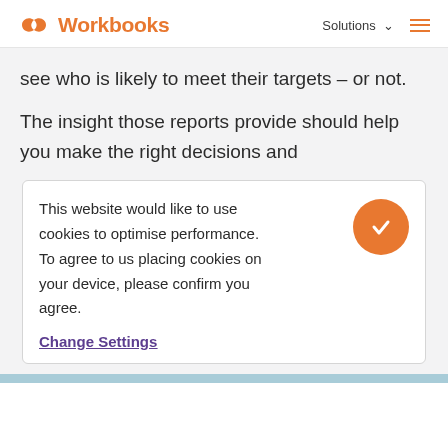Workbooks | Solutions
see who is likely to meet their targets – or not.
The insight those reports provide should help you make the right decisions and
This website would like to use cookies to optimise performance. To agree to us placing cookies on your device, please confirm you agree.
Change Settings